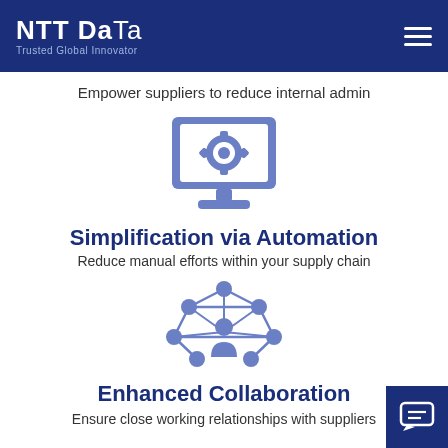NTT DATA — Trusted Global Innovator
Empower suppliers to reduce internal admin
[Figure (illustration): Blue icon of a computer monitor with a gear/cog on the screen, representing automation]
Simplification via Automation
Reduce manual efforts within your supply chain
[Figure (illustration): Blue icon of a person connected to a network/graph of nodes, representing collaboration]
Enhanced Collaboration
Ensure close working relationships with suppliers